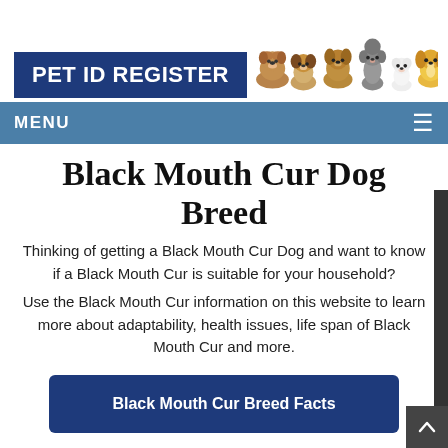[Figure (logo): PET ID REGISTER logo: white bold text on dark navy blue rectangular background, alongside illustrated dogs (bulldog, beagle, labrador, poodle, maltese, golden retriever) lined up in a row]
MENU
Black Mouth Cur Dog Breed
Thinking of getting a Black Mouth Cur Dog and want to know if a Black Mouth Cur is suitable for your household?
Use the Black Mouth Cur information on this website to learn more about adaptability, health issues, life span of Black Mouth Cur and more.
Black Mouth Cur Breed Facts